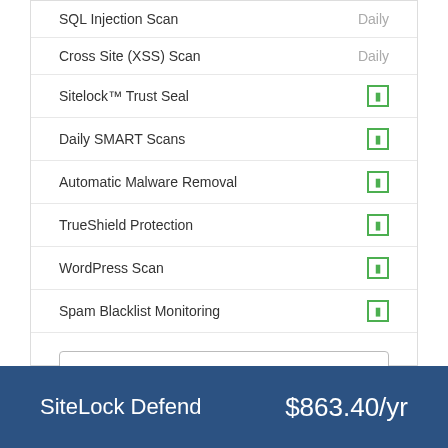SQL Injection Scan — Daily
Cross Site (XSS) Scan — Daily
Sitelock™ Trust Seal — ✓
Daily SMART Scans — ✓
Automatic Malware Removal — ✓
TrueShield Protection — ✓
WordPress Scan — ✓
Spam Blacklist Monitoring — ✓
1 Month - $21.95 NZD/mo
Buy Now
SiteLock Defend
$863.40/yr